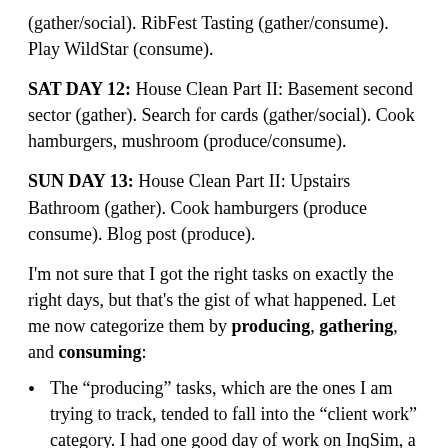(gather/social). RibFest Tasting (gather/consume). Play WildStar (consume).
SAT DAY 12: House Clean Part II: Basement second sector (gather). Search for cards (gather/social). Cook hamburgers, mushroom (produce/consume).
SUN DAY 13: House Clean Part II: Upstairs Bathroom (gather). Cook hamburgers (produce consume). Blog post (produce).
I'm not sure that I got the right tasks on exactly the right days, but that's the gist of what happened. Let me now categorize them by producing, gathering, and consuming:
The “producing” tasks, which are the ones I am trying to track, tended to fall into the “client work” category. I had one good day of work on InqSim, a